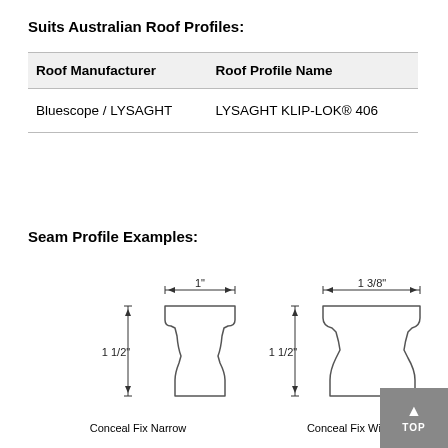Suits Australian Roof Profiles:
| Roof Manufacturer | Roof Profile Name |
| --- | --- |
| Bluescope / LYSAGHT | LYSAGHT KLIP-LOK® 406 |
Seam Profile Examples:
[Figure (engineering-diagram): Two seam profile cross-section engineering diagrams side by side. Left: 'Conceal Fix Narrow' profile with 1" width and 1 1/2" height dimensions. Right: 'Conceal Fix Wide' profile with 1 3/8" width and 1 1/2" height dimensions.]
Conceal Fix Narrow
Conceal Fix Wide